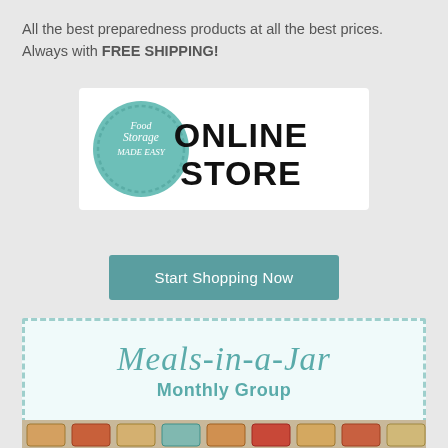All the best preparedness products at all the best prices. Always with FREE SHIPPING!
[Figure (logo): Food Storage Made Easy Online Store logo — teal circular badge on left with 'Food Storage Made Easy' script text, and bold black 'ONLINE STORE' text on right]
Start Shopping Now
[Figure (infographic): Meals-in-a-Jar Monthly Group banner with dashed teal border, cursive teal title 'Meals-in-a-Jar' and subtitle 'Monthly Group']
[Figure (photo): Photo strip showing a row of mason jars filled with colorful dry food ingredients labeled Thrive]